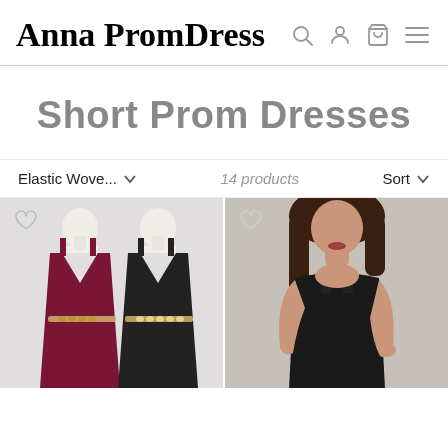Anna PromDress
Short Prom Dresses
Elastic Wove... ∨   14 products   Sort ∨
[Figure (photo): Two mannequins wearing short prom dresses, one in burgundy/wine color and one in black, both with deep V-necklines and embellished waistbands. Heart/wishlist icon in top left corner.]
[Figure (photo): Woman wearing a fitted black sleeveless dress, shown from shoulders to waist. Heart/wishlist icon in top left corner.]